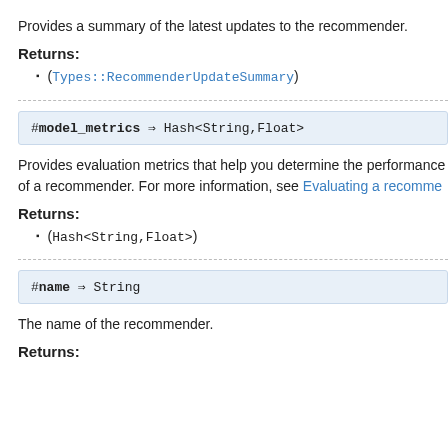Provides a summary of the latest updates to the recommender.
Returns:
(Types::RecommenderUpdateSummary)
#model_metrics ⇒ Hash<String,Float>
Provides evaluation metrics that help you determine the performance of a recommender. For more information, see Evaluating a recomme...
Returns:
(Hash<String,Float>)
#name ⇒ String
The name of the recommender.
Returns: